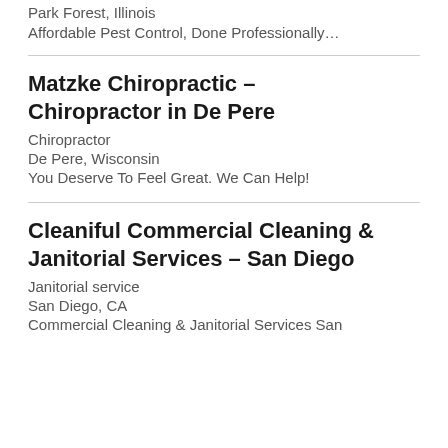Park Forest, Illinois
Affordable Pest Control, Done Professionally…
Matzke Chiropractic – Chiropractor in De Pere
Chiropractor
De Pere, Wisconsin
You Deserve To Feel Great. We Can Help!
Cleaniful Commercial Cleaning & Janitorial Services – San Diego
Janitorial service
San Diego, CA
Commercial Cleaning & Janitorial Services San